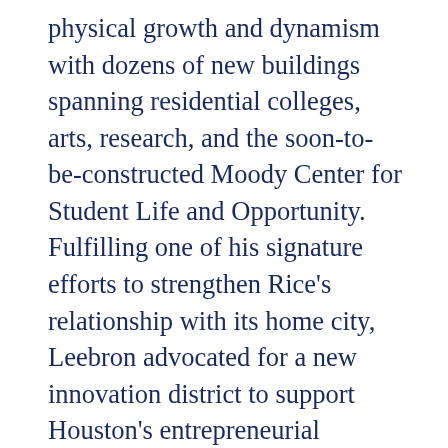physical growth and dynamism with dozens of new buildings spanning residential colleges, arts, research, and the soon-to-be-constructed Moody Center for Student Life and Opportunity. Fulfilling one of his signature efforts to strengthen Rice's relationship with its home city, Leebron advocated for a new innovation district to support Houston's entrepreneurial community, resulting in the recently completed Ion. He will step down as president on June 30, 2022.
Sun, the University Representative, is one of Rice's most visible and celebrated ambassadors, serving as a beloved